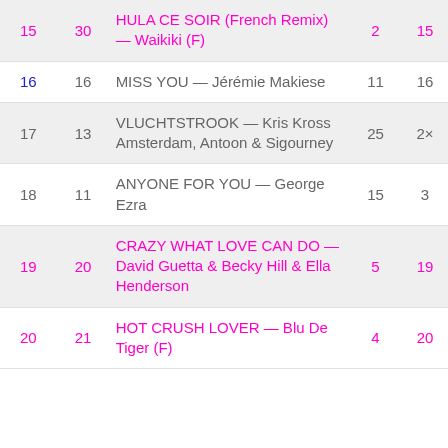| Rank | Prev | Title — Artist | Wks | Pk |
| --- | --- | --- | --- | --- |
| 15 | 30 | HULA CE SOIR (French Remix) — Waikiki (F) | 2 | 15 |
| 16 | 16 | MISS YOU — Jérémie Makiese | 11 | 16 |
| 17 | 13 | VLUCHTSTROOK — Kris Kross Amsterdam, Antoon & Sigourney | 25 | 2× |
| 18 | 11 | ANYONE FOR YOU — George Ezra | 15 | 3 |
| 19 | 20 | CRAZY WHAT LOVE CAN DO — David Guetta & Becky Hill & Ella Henderson | 5 | 19 |
| 20 | 21 | HOT CRUSH LOVER — Blu De Tiger (F) | 4 | 20 |